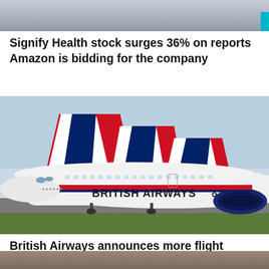[Figure (photo): Partial photo at top of page, appears to show a building with columns and a small teal/cyan colored element on the right side]
Signify Health stock surges 36% on reports Amazon is bidding for the company
[Figure (photo): British Airways aircraft on tarmac showing tail fins with Union Jack livery and fuselage with 'BRITISH AIRWAYS' text]
British Airways announces more flight cancellations
[Figure (photo): Partial photo at bottom of page showing a person's face, cropped]